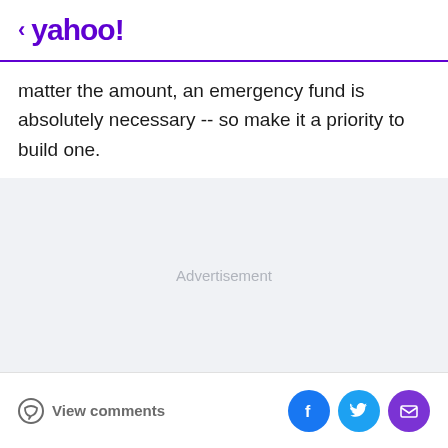< yahoo!
matter the amount, an emergency fund is absolutely necessary -- so make it a priority to build one.
[Figure (other): Advertisement placeholder area with light gray background and 'Advertisement' label in center]
View comments